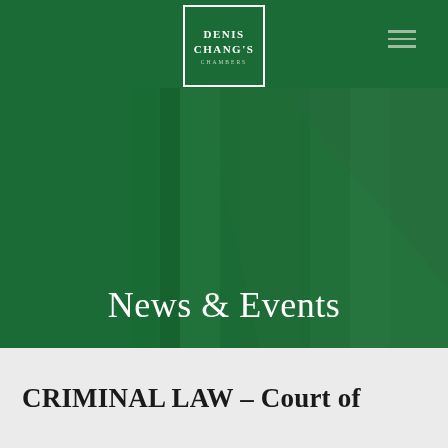[Figure (logo): Denis Chang's Chambers logo: white bordered box with text on dark green background header]
News & Events
CRIMINAL LAW – Court of